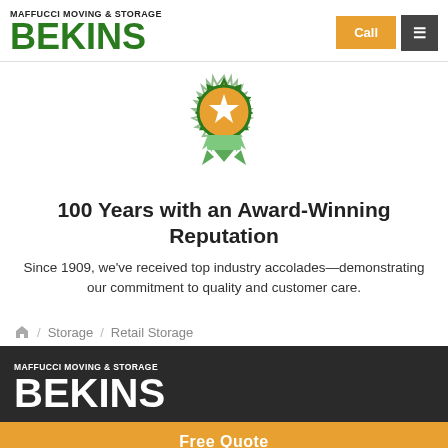MAFFUCCI MOVING & STORAGE BEKINS | Call | Menu
[Figure (illustration): Award badge icon: green starburst border with orange/gold circular center containing a white star, with green ribbon/banner below]
100 Years with an Award-Winning Reputation
Since 1909, we've received top industry accolades—demonstrating our commitment to quality and customer care.
/ Storage / Retail Storage
[Figure (logo): Maffucci Moving & Storage Bekins logo in white on dark background]
Free Quote